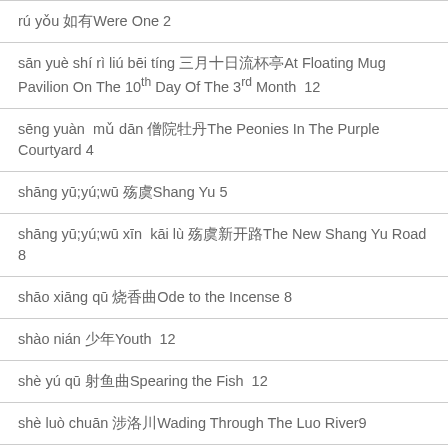rú yǒu 如有Were One 2
sān yuè shí rì liú bēi tíng 三月十日流杯亭At Floating Mug Pavilion On The 10th Day Of The 3rd Month  12
sēng yuàn  mǔ dān 僧院牡丹The Peonies In The Purple Courtyard 4
shāng yū;yú;wū 殇虞Shang Yu 5
shāng yū;yú;wū xīn  kāi lù 殇虞新开路The New Shang Yu Road 8
shāo xiāng qū 烧香曲Ode to the Incense 8
shào nián 少年Youth  12
shè yú qū 射鱼曲Spearing the Fish  12
shè luò chuān 涉洛川Wading Through The Luo River9
shēn gōng 深宫Hidden Palace10